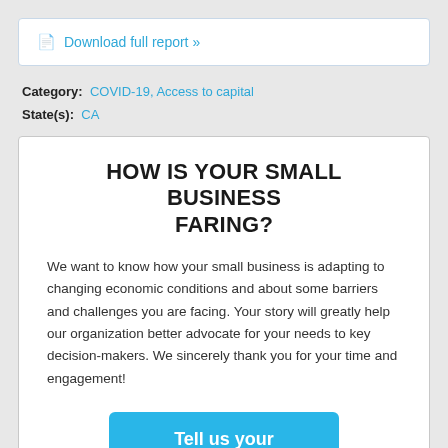Download full report »
Category: COVID-19, Access to capital
State(s): CA
HOW IS YOUR SMALL BUSINESS FARING?
We want to know how your small business is adapting to changing economic conditions and about some barriers and challenges you are facing. Your story will greatly help our organization better advocate for your needs to key decision-makers. We sincerely thank you for your time and engagement!
Tell us your story!